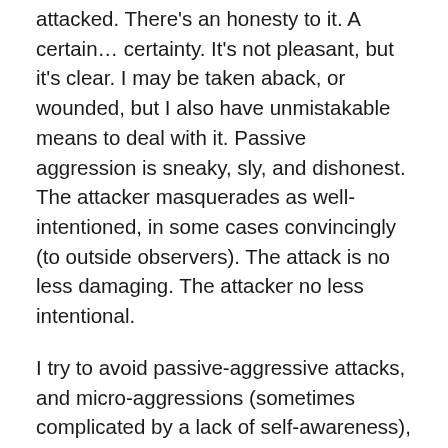attacked. There's an honesty to it. A certain… certainty. It's not pleasant, but it's clear. I may be taken aback, or wounded, but I also have unmistakable means to deal with it. Passive aggression is sneaky, sly, and dishonest. The attacker masquerades as well-intentioned, in some cases convincingly (to outside observers). The attack is no less damaging. The attacker no less intentional.
I try to avoid passive-aggressive attacks, and micro-aggressions (sometimes complicated by a lack of self-awareness), as well. I'm not a perfect human being, but a willful, considered, attempt, and a good-heart, go a long way. There's less I understand to do about my own potential for overt aggression, beside stifle it, keep it in check by force if necessary, and continue to work on not having to deal with it, by making it less a part of my implicit